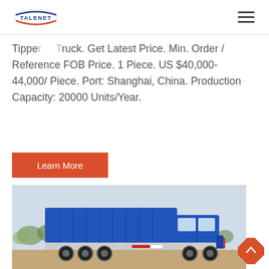TALENET
Tipper Truck. Get Latest Price. Min. Order / Reference FOB Price. 1 Piece. US $40,000-44,000/ Piece. Port: Shanghai, China. Production Capacity: 20000 Units/Year.
Learn More
[Figure (photo): Blue tipper/dump truck parked outdoors on sandy ground, side profile view, with trees in background.]